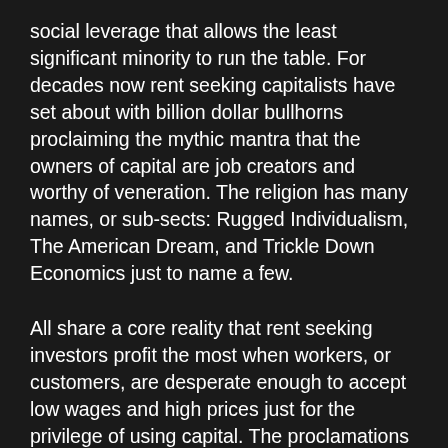social leverage that allows the least significant minority to run the table. For decades now rent seeking capitalists have set about with billion dollar bullhorns proclaiming the mythic mantra that the owners of capital are job creators and worthy of veneration. The religion has many names, or sub-sects: Rugged Individualism, The American Dream, and Trickle Down Economics just to name a few.
All share a core reality that rent seeking investors profit the most when workers, or customers, are desperate enough to accept low wages and high prices just for the privilege of using capital. The proclamations of this dogma usually subsist in holding up anecdotal success stories as representations of what everyone has waiting just around the corner. All we have to do is just keep worshipping at the grindstone on the capitalist's altar.
Reminder: By any name – it's a false religion. The